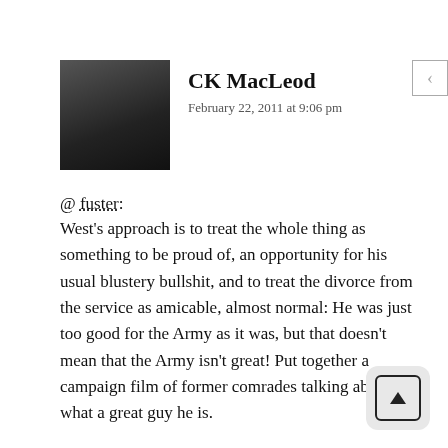[Figure (photo): Small square avatar photo of CK MacLeod, dark toned portrait]
CK MacLeod
February 22, 2011 at 9:06 pm
@ fuster:
West's approach is to treat the whole thing as something to be proud of, an opportunity for his usual blustery bullshit, and to treat the divorce from the service as amicable, almost normal: He was just too good for the Army as it was, but that doesn't mean that the Army isn't great! Put together a campaign film of former comrades talking about what a great guy he is.
His fans think he's presidential material, but I th…'s more likely to end up a B-1 Bob Dornan type.